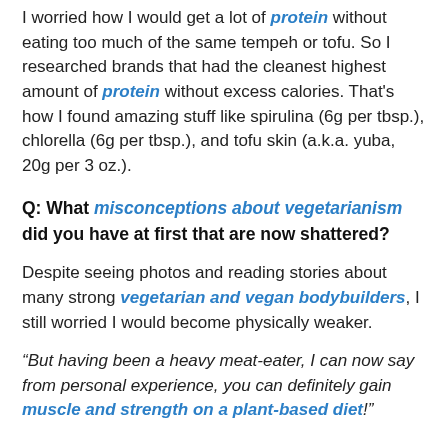I worried how I would get a lot of protein without eating too much of the same tempeh or tofu. So I researched brands that had the cleanest highest amount of protein without excess calories. That's how I found amazing stuff like spirulina (6g per tbsp.), chlorella (6g per tbsp.), and tofu skin (a.k.a. yuba, 20g per 3 oz.).
Q: What misconceptions about vegetarianism did you have at first that are now shattered?
Despite seeing photos and reading stories about many strong vegetarian and vegan bodybuilders, I still worried I would become physically weaker.
“But having been a heavy meat-eater, I can now say from personal experience, you can definitely gain muscle and strength on a plant-based diet!”